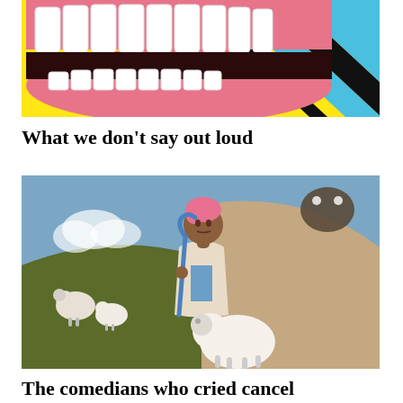[Figure (illustration): Pop-art style illustration of a wide open mouth with large white teeth, set against a bright yellow background with blue and black diagonal stripes]
What we don't say out loud
[Figure (illustration): Illustrated scene of a person with pink hair wearing a beige coat and holding a blue shepherd's crook, standing among sheep in a pastoral landscape with hills, clouds, and a creature lurking in shadow]
The comedians who cried cancel culture